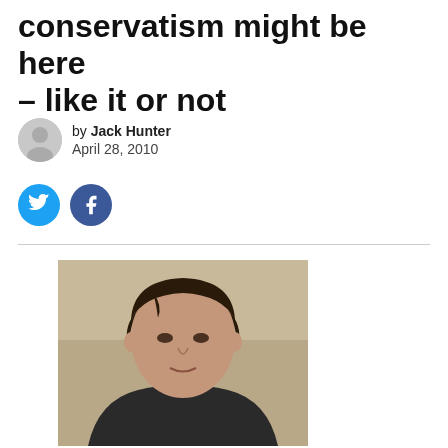conservatism might be here – like it or not
by Jack Hunter
April 28, 2010
[Figure (photo): Headshot portrait photo of a young man with dark hair wearing a dark jacket, looking at the camera against a light background.]